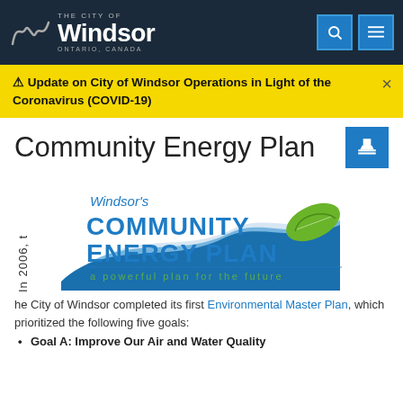The City of Windsor – Ontario, Canada
⚠ Update on City of Windsor Operations in Light of the Coronavirus (COVID-19)
Community Energy Plan
[Figure (logo): Windsor's Community Energy Plan logo with blue wave design and green leaf, tagline: a powerful plan for the future]
In 2006, the City of Windsor completed its first Environmental Master Plan, which prioritized the following five goals:
Goal A: Improve Our Air and Water Quality